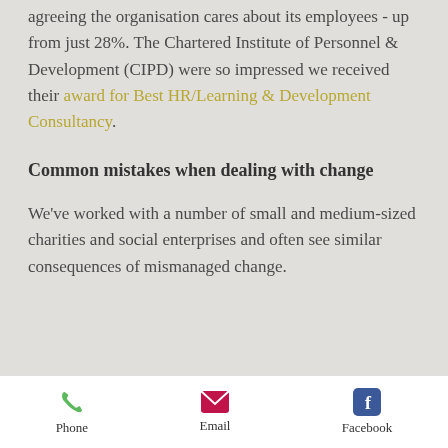agreeing the organisation cares about its employees - up from just 28%. The Chartered Institute of Personnel & Development (CIPD) were so impressed we received their award for Best HR/Learning & Development Consultancy.
Common mistakes when dealing with change
We've worked with a number of small and medium-sized charities and social enterprises and often see similar consequences of mismanaged change.
Phone | Email | Facebook